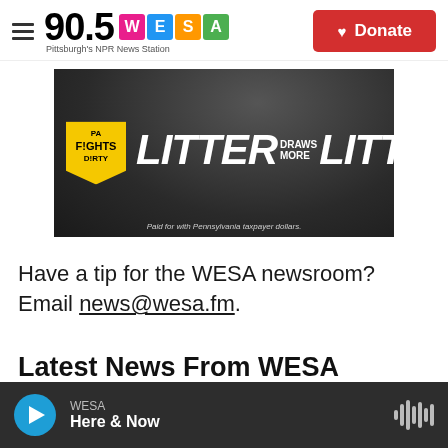90.5 WESA Pittsburgh's NPR News Station — Donate
[Figure (photo): PA Fights Dirty anti-litter advertisement banner. Dark background with red sneakers, gloved hands holding litter. Text: PA FIGHTS DIRTY — LITTER DRAWS MORE LITTER. Paid for with Pennsylvania taxpayer dollars.]
Have a tip for the WESA newsroom? Email news@wesa.fm.
Latest News From WESA
WESA — Here & Now (audio player bar)